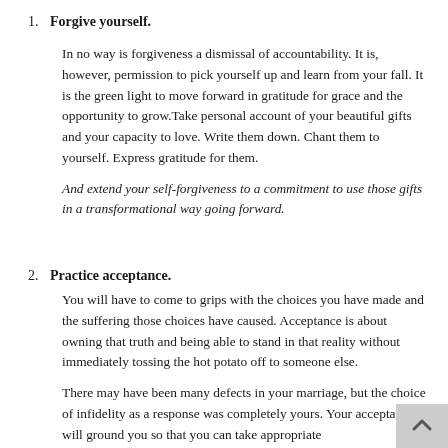1. Forgive yourself.
In no way is forgiveness a dismissal of accountability. It is, however, permission to pick yourself up and learn from your fall. It is the green light to move forward in gratitude for grace and the opportunity to grow.Take personal account of your beautiful gifts and your capacity to love. Write them down. Chant them to yourself. Express gratitude for them.
And extend your self-forgiveness to a commitment to use those gifts in a transformational way going forward.
2. Practice acceptance.
You will have to come to grips with the choices you have made and the suffering those choices have caused. Acceptance is about owning that truth and being able to stand in that reality without immediately tossing the hot potato off to someone else.
There may have been many defects in your marriage, but the choice of infidelity as a response was completely yours. Your acceptance will ground you so that you can take appropriate